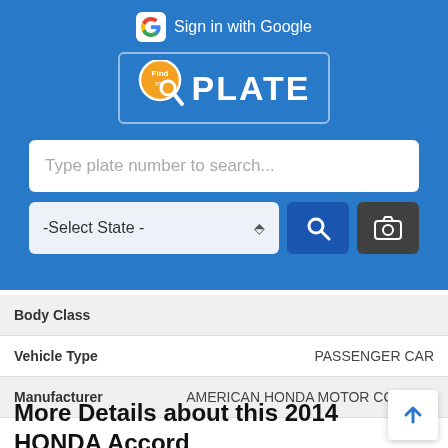[Figure (screenshot): FindPlate app interface with blue header, Google Sign-in button, FindPlate logo, search bar for plate number, state selector dropdown, search button, and camera button]
| Body Class |  |
| Vehicle Type | PASSENGER CAR |
| Manufacturer | AMERICAN HONDA MOTOR CO., INC. |
More Details about this 2014 HONDA Accord